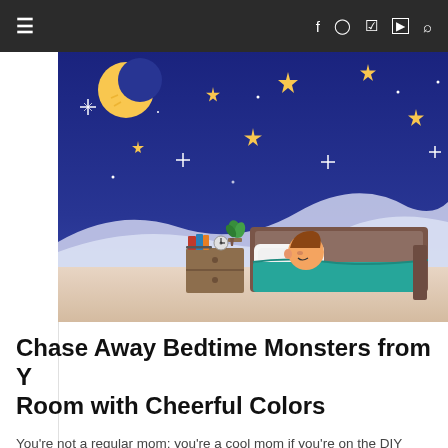≡  f  ⊙  P  ▶  🔍
[Figure (illustration): Illustrated scene of a child sleeping in bed with a nightstand, books, and a plant, set against a night sky with a crescent moon, stars, and snowy hills.]
Chase Away Bedtime Monsters from Your Room with Cheerful Colors
You're not a regular mom; you're a cool mom if you're on the DIY quarantine. If you've decided to spruce up your kid's space with then you know that picking the right hue is not child's play. That's